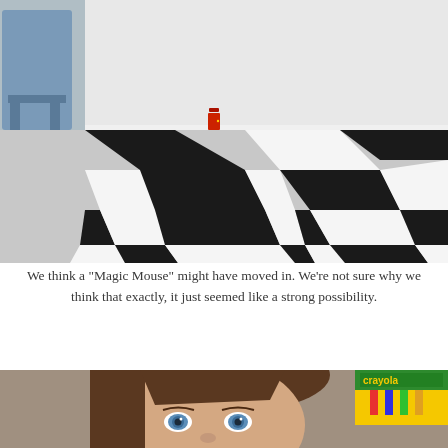[Figure (photo): A black and white checkerboard tile floor viewed from a low angle. Along the white baseboard wall in the background, a tiny red miniature door is placed at floor level. A blue step stool is partially visible on the left.]
We think a "Magic Mouse" might have moved in.  We're not sure why we think that exactly, it just seemed like a strong possibility.
[Figure (photo): Close-up portrait of a young girl with brown hair and striking blue eyes looking at the camera. A Crayola crayon box is visible in the upper right corner background.]